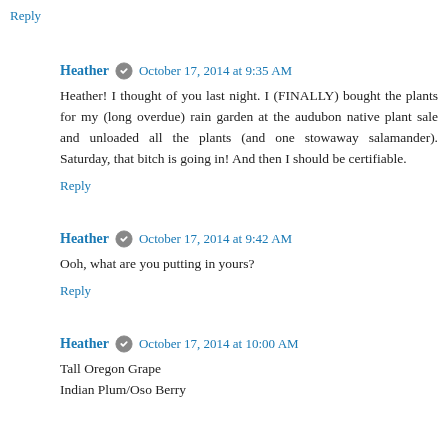Reply
Heather  October 17, 2014 at 9:35 AM
Heather! I thought of you last night. I (FINALLY) bought the plants for my (long overdue) rain garden at the audubon native plant sale and unloaded all the plants (and one stowaway salamander). Saturday, that bitch is going in! And then I should be certifiable.
Reply
Heather  October 17, 2014 at 9:42 AM
Ooh, what are you putting in yours?
Reply
Heather  October 17, 2014 at 10:00 AM
Tall Oregon Grape
Indian Plum/Oso Berry